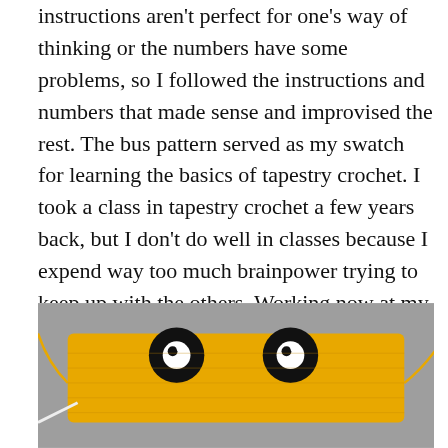instructions aren't perfect for one's way of thinking or the numbers have some problems, so I followed the instructions and numbers that made sense and improvised the rest. The bus pattern served as my swatch for learning the basics of tapestry crochet. I took a class in tapestry crochet a few years back, but I don't do well in classes because I expend way too much brainpower trying to keep up with the others. Working now at my leisure, I found that tapestry crochet is a lot like stranded knitting in which you catch the carried strand around the working strand at every stitch, encasing it on the back side of the work. Each piece of the bus was worked flat, so I turned the work around and did the stranding on both sides. Sometimes the carried strand shows through. Oh well.
[Figure (photo): Photo of a crocheted yellow bus piece laid flat on a gray surface, showing two black circular eyes with white highlights (pupils), yellow crocheted fabric, and antenna-like strands extending from the sides.]